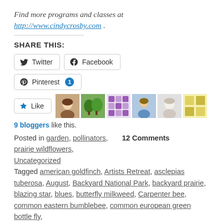Find more programs and classes at http://www.cindycrosby.com .
SHARE THIS:
[Figure (other): Social sharing buttons: Twitter, Facebook, Pinterest (with badge 1)]
[Figure (other): Like button with 6 blogger avatars]
9 bloggers like this.
Posted in garden, pollinators,    12 Comments
prairie wildflowers,
Uncategorized
Tagged american goldfinch, Artists Retreat, asclepias tuberosa, August, Backyard National Park, backyard prairie, blazing star, blues, butterfly milkweed, Carpenter bee, common eastern bumblebee, common european green bottle fly, common sneezeweed, cut and come again zinnias